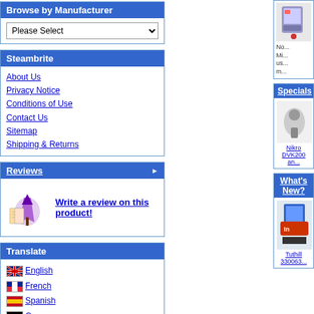Browse by Manufacturer
Please Select
Steambrite
About Us
Privacy Notice
Conditions of Use
Contact Us
Sitemap
Shipping & Returns
Reviews
Write a review on this product!
Translate
English
French
Spanish
German
Italian
Portuguese
Specials
Nikro DVK200 an...
What's New?
Tuthill 330063...